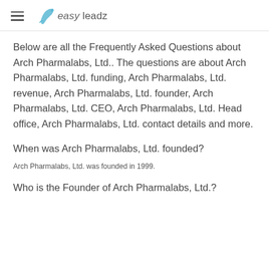easy leadz
Below are all the Frequently Asked Questions about Arch Pharmalabs, Ltd.. The questions are about Arch Pharmalabs, Ltd. funding, Arch Pharmalabs, Ltd. revenue, Arch Pharmalabs, Ltd. founder, Arch Pharmalabs, Ltd. CEO, Arch Pharmalabs, Ltd. Head office, Arch Pharmalabs, Ltd. contact details and more.
When was Arch Pharmalabs, Ltd. founded?
Arch Pharmalabs, Ltd. was founded in 1999.
Who is the Founder of Arch Pharmalabs, Ltd.?